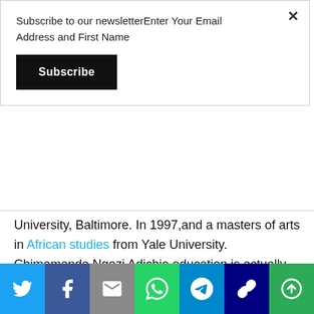Subscribe to our newsletterEnter Your Email Address and First Name
Subscribe
University, Baltimore. In 1997,and a masters of arts in African studies from Yale University. Chimamanda Ngozi Adichie education is actually breathtaking.
[Figure (infographic): Social sharing bar with icons for Twitter, Facebook, Email, WhatsApp, Telegram, Link, and More]